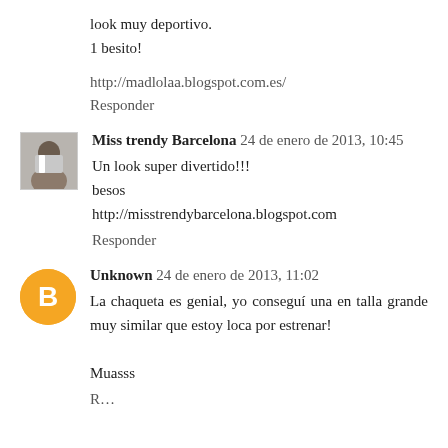look muy deportivo.
1 besito!
http://madlolaa.blogspot.com.es/
Responder
Miss trendy Barcelona 24 de enero de 2013, 10:45
Un look super divertido!!!
besos
http://misstrendybarcelona.blogspot.com
Responder
Unknown 24 de enero de 2013, 11:02
La chaqueta es genial, yo conseguí una en talla grande muy similar que estoy loca por estrenar!

Muasss
Responder